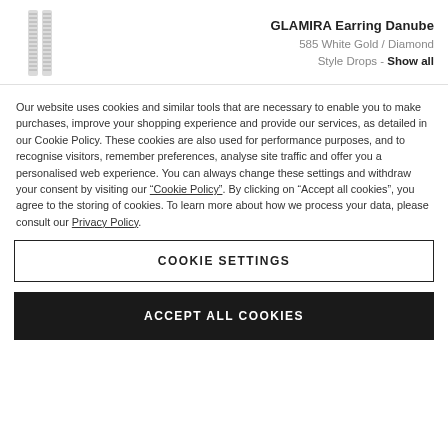GLAMIRA Earring Danube
585 White Gold / Diamond
Style Drops - Show all
Our website uses cookies and similar tools that are necessary to enable you to make purchases, improve your shopping experience and provide our services, as detailed in our Cookie Policy. These cookies are also used for performance purposes, and to recognise visitors, remember preferences, analyse site traffic and offer you a personalised web experience. You can always change these settings and withdraw your consent by visiting our “Cookie Policy”. By clicking on “Accept all cookies”, you agree to the storing of cookies. To learn more about how we process your data, please consult our Privacy Policy.
COOKIE SETTINGS
ACCEPT ALL COOKIES